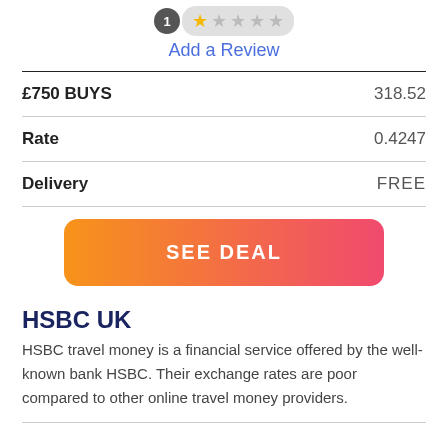[Figure (other): Star rating widget showing 1 review badge and 1 filled star out of 5, on a light grey pill background]
Add a Review
|  |  |
| --- | --- |
| £750 BUYS | 318.52 |
| Rate | 0.4247 |
| Delivery | FREE |
[Figure (other): SEE DEAL button with orange to pink gradient background and white bold text]
HSBC UK
HSBC travel money is a financial service offered by the well-known bank HSBC. Their exchange rates are poor compared to other online travel money providers.